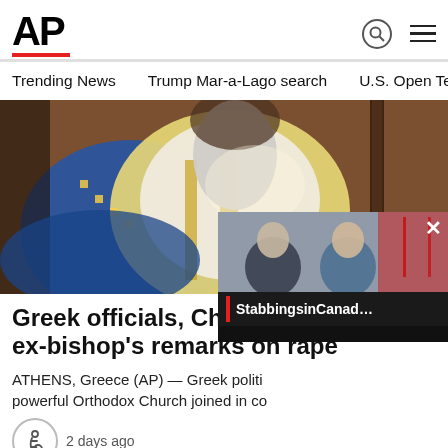AP
Trending News   Trump Mar-a-Lago search   U.S. Open Tennis
[Figure (photo): Orthodox bishop or patriarch in ceremonial vestments with blue and gold robes, holding a staff, with a large grey beard]
Greek officials, Church, condemn ex-bishop's remarks on rape
ATHENS, Greece (AP) — Greek politi… powerful Orthodox Church joined in co…
2 days ago
Ad Content
[Figure (photo): Food item with golden/yellow speckled texture]
[Figure (screenshot): Popup video overlay showing two men at a press conference with Canadian flags, labeled 'StabbingsinCanad...']